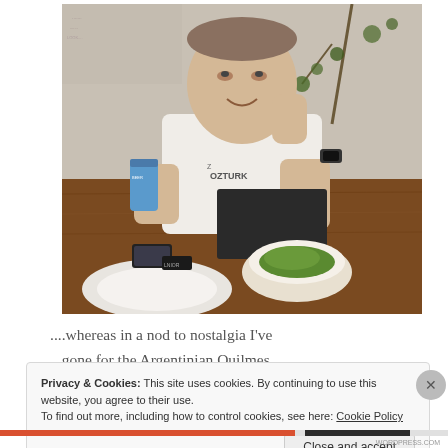[Figure (photo): A man sitting at a wooden table in a café/restaurant, smiling and holding a blue can of beer. He wears a white t-shirt and a watch. On the table there is a bowl with green salad/guacamole, a white plate, and a mobile phone. The background shows writings on the wall and plants.]
....whereas in a nod to nostalgia I've gone for the Argentinian Quilmes, which in my humble opinion wins the
Privacy & Cookies: This site uses cookies. By continuing to use this website, you agree to their use.
To find out more, including how to control cookies, see here: Cookie Policy
Close and accept